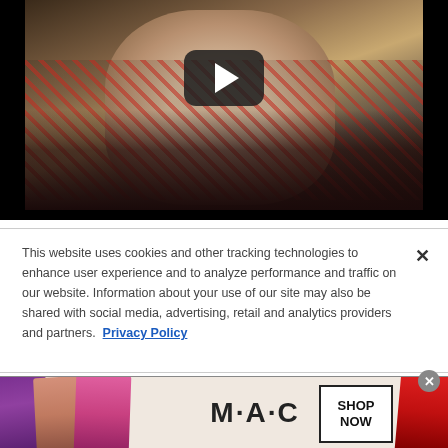[Figure (screenshot): Video thumbnail showing an elderly person wearing a patterned dark jacket/scarf with a YouTube play button overlay in the center]
This website uses cookies and other tracking technologies to enhance user experience and to analyze performance and traffic on our website. Information about your use of our site may also be shared with social media, advertising, retail and analytics providers and partners.  Privacy Policy
[Figure (other): MAC Cosmetics advertisement banner showing multiple lipsticks (purple, nude, pink, red) with MAC logo and SHOP NOW button]